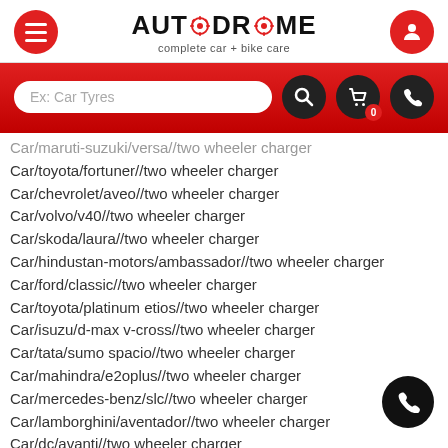[Figure (screenshot): Autodrome website header with hamburger menu button (red circle), Autodrome logo in center with gear icons, and user profile button (red circle)]
[Figure (screenshot): Red search bar section with white search input placeholder 'Ex: Car Tyres', search icon button, cart icon with badge '0', and phone icon]
Car/maruti-suzuki/versa//two wheeler charger
Car/toyota/fortuner//two wheeler charger
Car/chevrolet/aveo//two wheeler charger
Car/volvo/v40//two wheeler charger
Car/skoda/laura//two wheeler charger
Car/hindustan-motors/ambassador//two wheeler charger
Car/ford/classic//two wheeler charger
Car/toyota/platinum etios//two wheeler charger
Car/isuzu/d-max v-cross//two wheeler charger
Car/tata/sumo spacio//two wheeler charger
Car/mahindra/e2oplus//two wheeler charger
Car/mercedes-benz/slc//two wheeler charger
Car/lamborghini/aventador//two wheeler charger
Car/dc/avanti//two wheeler charger
Car/renault/duster//two wheeler charger
Car/mitsubishi/lancer petrol//two wheeler charger